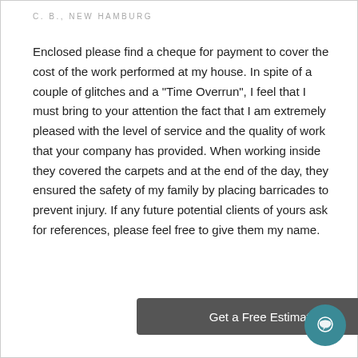C. B., NEW HAMBURG
Enclosed please find a cheque for payment to cover the cost of the work performed at my house. In spite of a couple of glitches and a "Time Overrun", I feel that I must bring to your attention the fact that I am extremely pleased with the level of service and the quality of work that your company has provided. When working inside they covered the carpets and at the end of the day, they ensured the safety of my family by placing barricades to prevent injury. If any future potential clients of yours ask for references, please feel free to give them my name.